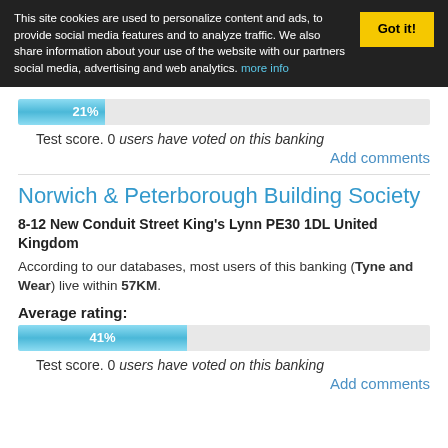This site cookies are used to personalize content and ads, to provide social media features and to analyze traffic. We also share information about your use of the website with our partners social media, advertising and web analytics. more info
[Figure (bar-chart): 21% progress bar]
Test score. 0 users have voted on this banking
Add comments
Norwich & Peterborough Building Society
8-12 New Conduit Street King's Lynn PE30 1DL United Kingdom
According to our databases, most users of this banking (Tyne and Wear) live within 57KM.
Average rating:
[Figure (bar-chart): 41% progress bar]
Test score. 0 users have voted on this banking
Add comments